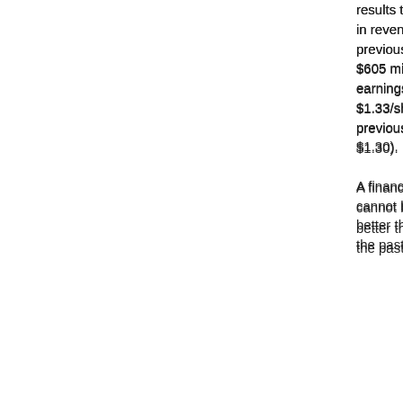results to $608 million in revenue (from previous guidance of $605 million), and earnings to $1.33/share (from previous guidance of $1.30).

A financial report cannot be much better than this.  In the past I have